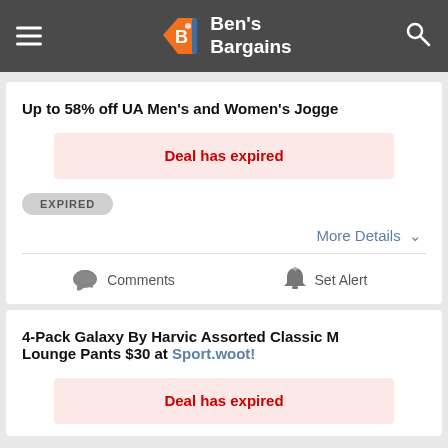Ben's Bargains
Up to 58% off UA Men's and Women's Jogge
Deal has expired
EXPIRED
More Details
Comments
Set Alert
4-Pack Galaxy By Harvic Assorted Classic M Lounge Pants $30 at Sport.woot!
Deal has expired